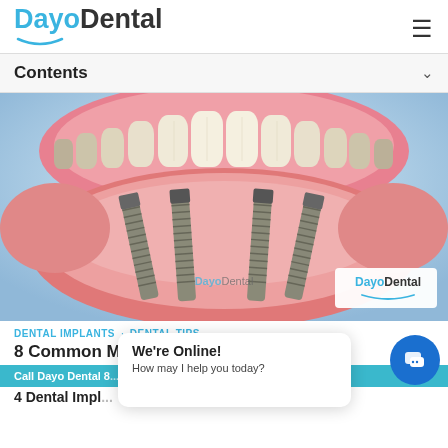DayoDental
Contents
[Figure (illustration): 3D dental illustration showing All-on-4 dental implants: upper jaw with full arch of teeth and lower jaw showing four titanium implant screws embedded in gum tissue, with DayoDental watermark]
DENTAL IMPLANTS  DENTAL TIPS
8 Common Mi...
Call Dayo Dental 8...
4 Dental Impl...
We're Online! How may I help you today?